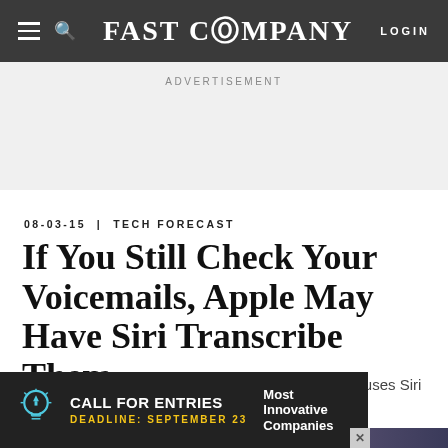FAST COMPANY  LOGIN
ADVERTISEMENT
08-03-15 | TECH FORECAST
If You Still Check Your Voicemails, Apple May Have Siri Transcribe Them
The tech giant is testing a transcription service that uses Siri to render your voicemails in text form.
[Figure (photo): Partial view of article hero image showing blurred dark objects]
[Figure (infographic): Bottom advertisement banner: CALL FOR ENTRIES, DEADLINE: SEPTEMBER 23, Most Innovative Companies, lightbulb icon, close X button]